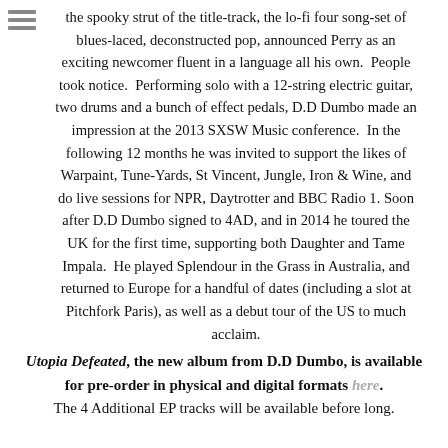the spooky strut of the title-track, the lo-fi four song-set of blues-laced, deconstructed pop, announced Perry as an exciting newcomer fluent in a language all his own. People took notice. Performing solo with a 12-string electric guitar, two drums and a bunch of effect pedals, D.D Dumbo made an impression at the 2013 SXSW Music conference. In the following 12 months he was invited to support the likes of Warpaint, Tune-Yards, St Vincent, Jungle, Iron & Wine, and do live sessions for NPR, Daytrotter and BBC Radio 1. Soon after D.D Dumbo signed to 4AD, and in 2014 he toured the UK for the first time, supporting both Daughter and Tame Impala. He played Splendour in the Grass in Australia, and returned to Europe for a handful of dates (including a slot at Pitchfork Paris), as well as a debut tour of the US to much acclaim.
Utopia Defeated, the new album from D.D Dumbo, is available for pre-order in physical and digital formats here. The 4 Additional EP tracks will be available before long.